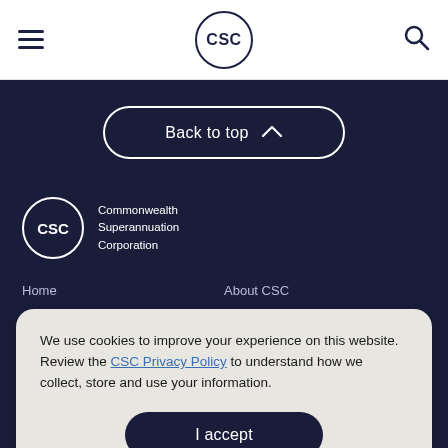CSC — Commonwealth Superannuation Corporation header with hamburger menu and search icon
Back to top
[Figure (logo): CSC Commonwealth Superannuation Corporation logo — circle with CSC text and full name beside it, white on dark background]
Home
About CSC
Careers
News
Feedback
Disclaimer
Privacy Policy
We use cookies to improve your experience on this website. Review the CSC Privacy Policy to understand how we collect, store and use your information.
I accept